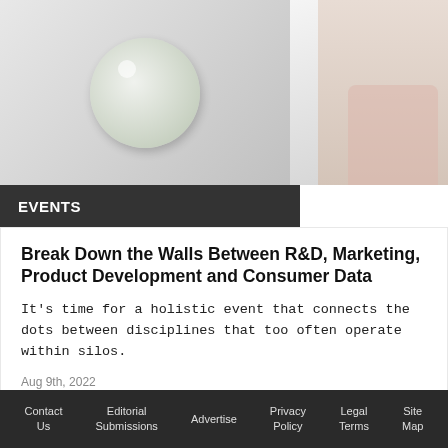[Figure (photo): Top banner image showing a circular product (white tablet/disc) on the left and a woman applying skincare near a mirror on the right]
EVENTS
Break Down the Walls Between R&D, Marketing, Product Development and Consumer Data
It's time for a holistic event that connects the dots between disciplines that too often operate within silos.
Aug 9th, 2022
[Figure (photo): Bottom image showing a blonde woman facing forward with a plant on the left and a bathroom/shelf scene on the right]
Contact Us   Editorial Submissions   Advertise   Privacy Policy   Legal Terms   Site Map